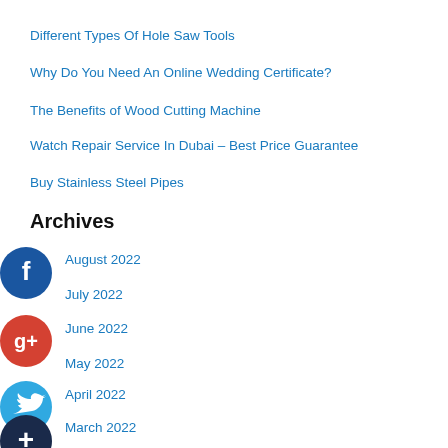Different Types Of Hole Saw Tools
Why Do You Need An Online Wedding Certificate?
The Benefits of Wood Cutting Machine
Watch Repair Service In Dubai – Best Price Guarantee
Buy Stainless Steel Pipes
Archives
August 2022
July 2022
June 2022
May 2022
April 2022
March 2022
February 2022
January 2022